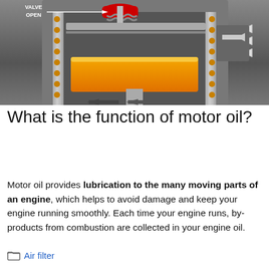[Figure (illustration): Cross-section engineering diagram of an engine showing valve open position, with labels for 'VALVE OPEN', a red colored valve/spring assembly at top, yellow/orange piston, metallic cylinder walls, and grey arrows indicating airflow direction.]
What is the function of motor oil?
Motor oil provides lubrication to the many moving parts of an engine, which helps to avoid damage and keep your engine running smoothly. Each time your engine runs, by-products from combustion are collected in your engine oil.
Air filter